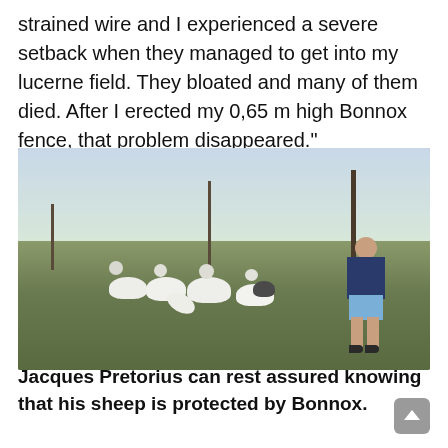strained wire and I experienced a severe setback when they managed to get into my lucerne field. They bloated and many of them died. After I erected my 0,65 m high Bonnox fence, that problem disappeared."
[Figure (photo): A farmer standing in a field with a group of white sheep. There is a fence visible in the background and grassland. The farmer is wearing a plaid shirt and shorts with boots.]
Jacques Pretorius can rest assured knowing that his sheep is protected by Bonnox.